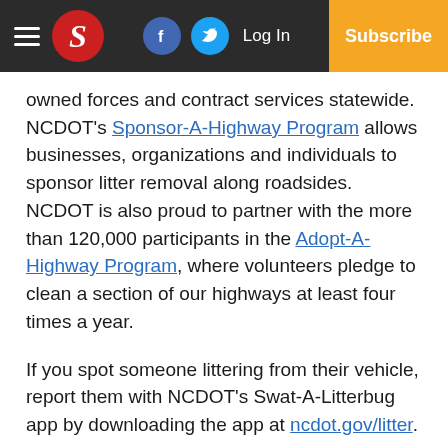S [logo] | Facebook | Twitter | Log In | Subscribe
owned forces and contract services statewide. NCDOT's Sponsor-A-Highway Program allows businesses, organizations and individuals to sponsor litter removal along roadsides. NCDOT is also proud to partner with the more than 120,000 participants in the Adopt-A-Highway Program, where volunteers pledge to clean a section of our highways at least four times a year.
If you spot someone littering from their vehicle, report them with NCDOT's Swat-A-Litterbug app by downloading the app at ncdot.gov/litter.